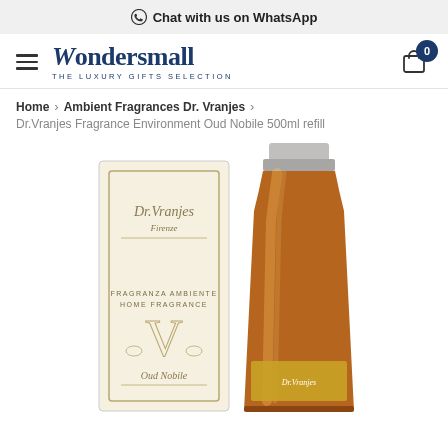Chat with us on WhatsApp
[Figure (logo): Wondersmall logo with tagline 'THE LUXURY GIFTS SELECTION']
Home > Ambient Fragrances Dr. Vranjes > Dr.Vranjes Fragrance Environment Oud Nobile 500ml refill
[Figure (photo): Dr. Vranjes Oud Nobile 500ml refill product photo showing the ivory branded box and amber glass bottle with silver screw cap]